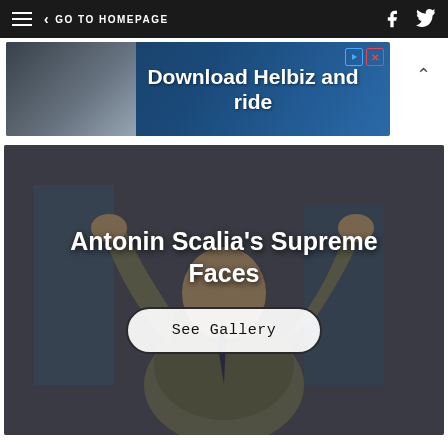≡  ‹ GO TO HOMEPAGE
[Figure (photo): Advertisement banner: Download Helbiz and ride]
[Figure (photo): Photo of Antonin Scalia raising both hands with text overlay 'Antonin Scalia's Supreme Faces' and a 'See Gallery' button]